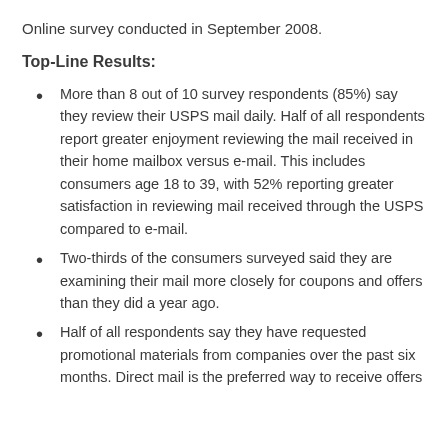Online survey conducted in September 2008.
Top-Line Results:
More than 8 out of 10 survey respondents (85%) say they review their USPS mail daily. Half of all respondents report greater enjoyment reviewing the mail received in their home mailbox versus e-mail. This includes consumers age 18 to 39, with 52% reporting greater satisfaction in reviewing mail received through the USPS compared to e-mail.
Two-thirds of the consumers surveyed said they are examining their mail more closely for coupons and offers than they did a year ago.
Half of all respondents say they have requested promotional materials from companies over the past six months. Direct mail is the preferred way to receive offers